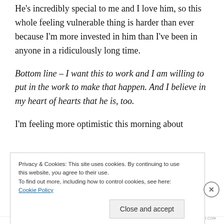He's incredibly special to me and I love him, so this whole feeling vulnerable thing is harder than ever because I'm more invested in him than I've been in anyone in a ridiculously long time.
Bottom line – I want this to work and I am willing to put in the work to make that happen. And I believe in my heart of hearts that he is, too.
I'm feeling more optimistic this morning about
Privacy & Cookies: This site uses cookies. By continuing to use this website, you agree to their use.
To find out more, including how to control cookies, see here: Cookie Policy